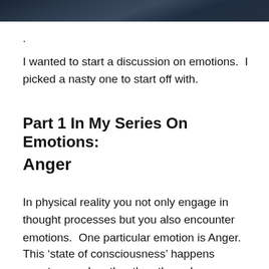[Figure (photo): Dark stormy sky photograph, partially cropped at top of page]
.
I wanted to start a discussion on emotions.  I picked a nasty one to start off with.
Part 1 In My Series On Emotions:
Anger
In physical reality you not only engage in thought processes but you also encounter emotions.  One particular emotion is Anger.
This ‘state of consciousness’ happens spontaneously rather than through ‘conscious planning’.  I find it usually